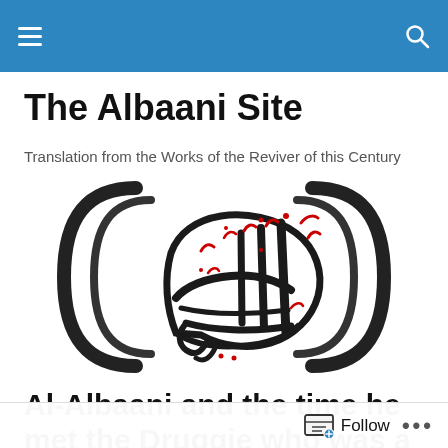The Albaani Site
Translation from the Works of the Reviver of this Century
[Figure (logo): Arabic calligraphy logo with black script and red diacritical marks, enclosed in a decorative circular bracket frame — the Al-Albaani site logo.]
Al-Albaani and the time he met the Druggie who was a Wali